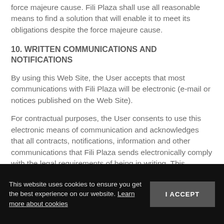force majeure cause. Fili Plaza shall use all reasonable means to find a solution that will enable it to meet its obligations despite the force majeure cause.
10. WRITTEN COMMUNICATIONS AND NOTIFICATIONS
By using this Web Site, the User accepts that most communications with Fili Plaza will be electronic (e-mail or notices published on the Web Site).
For contractual purposes, the User consents to use this electronic means of communication and acknowledges that all contracts, notifications, information and other communications that Fili Plaza sends electronically comply with the legal requirements of being in writing. This condition shall not affect the rights recognized by
This website uses cookies to ensure you get the best experience on our website. Learn more about cookies